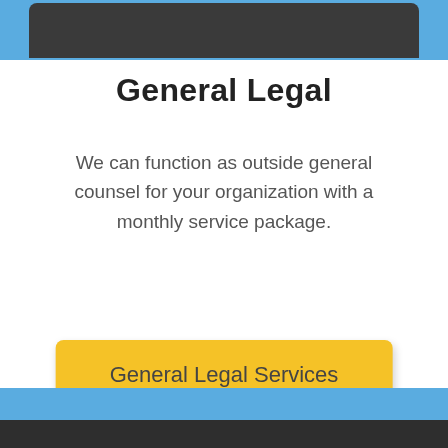[Figure (photo): Partial view of a chair in an office setting, shown cropped at the top of the page with a blue rounded border frame]
General Legal
We can function as outside general counsel for your organization with a monthly service package.
General Legal Services
[Figure (photo): Bottom section showing a blue bar and a dark gray/black band at the very bottom of the page]